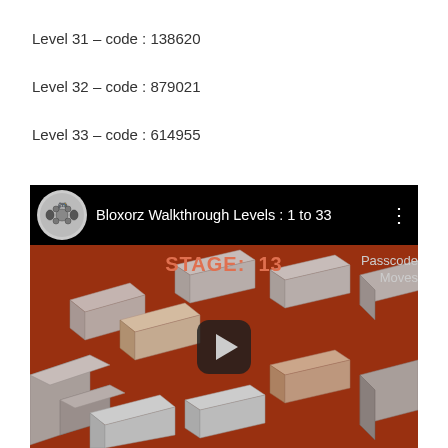Level 31 – code : 138620
Level 32 – code : 879021
Level 33 – code : 614955
[Figure (screenshot): YouTube video thumbnail for 'Bloxorz Walkthrough Levels : 1 to 33' showing a game screen with STAGE: 13 and a red background with 3D tile blocks. A play button is visible in the center.]